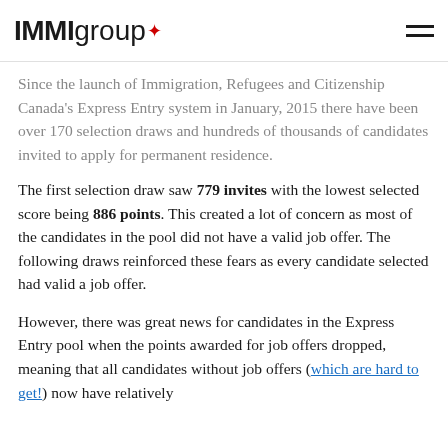IMMIgroup
Since the launch of Immigration, Refugees and Citizenship Canada's Express Entry system in January, 2015 there have been over 170 selection draws and hundreds of thousands of candidates invited to apply for permanent residence.
The first selection draw saw 779 invites with the lowest selected score being 886 points. This created a lot of concern as most of the candidates in the pool did not have a valid job offer. The following draws reinforced these fears as every candidate selected had valid a job offer.
However, there was great news for candidates in the Express Entry pool when the points awarded for job offers dropped, meaning that all candidates without job offers (which are hard to get!) now have relatively